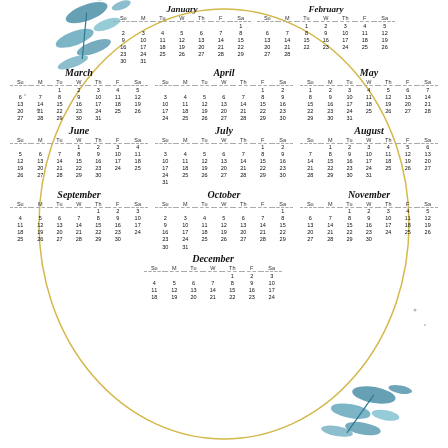[Figure (illustration): Decorative calendar with botanical leaf illustrations in teal/blue, gold oval frame, and monthly calendar grids for all 12 months.]
January
February
March
April
May
June
July
August
September
October
November
December